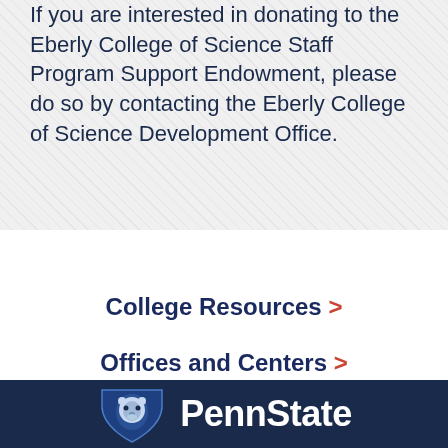If you are interested in donating to the Eberly College of Science Staff Program Support Endowment, please do so by contacting the Eberly College of Science Development Office.
College Resources >
Offices and Centers >
Student Programs >
[Figure (logo): Penn State logo with lion shield emblem and PennState wordmark in white on dark navy background]